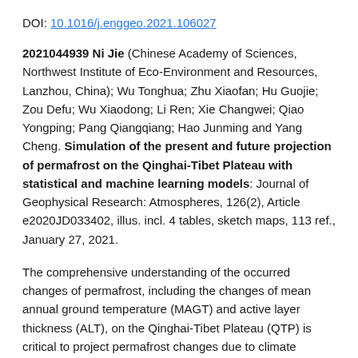DOI: 10.1016/j.enggeo.2021.106027
2021044939 Ni Jie (Chinese Academy of Sciences, Northwest Institute of Eco-Environment and Resources, Lanzhou, China); Wu Tonghua; Zhu Xiaofan; Hu Guojie; Zou Defu; Wu Xiaodong; Li Ren; Xie Changwei; Qiao Yongping; Pang Qiangqiang; Hao Junming and Yang Cheng. Simulation of the present and future projection of permafrost on the Qinghai-Tibet Plateau with statistical and machine learning models: Journal of Geophysical Research: Atmospheres, 126(2), Article e2020JD033402, illus. incl. 4 tables, sketch maps, 113 ref., January 27, 2021.
The comprehensive understanding of the occurred changes of permafrost, including the changes of mean annual ground temperature (MAGT) and active layer thickness (ALT), on the Qinghai-Tibet Plateau (QTP) is critical to project permafrost changes due to climate change. Here, we use statistical and machine learning